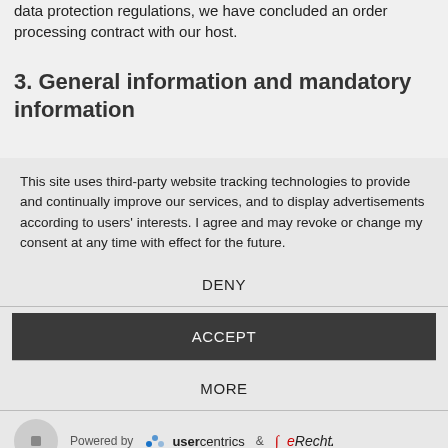data protection regulations, we have concluded an order processing contract with our host.
3. General information and mandatory information
This site uses third-party website tracking technologies to provide and continually improve our services, and to display advertisements according to users' interests. I agree and may revoke or change my consent at any time with effect for the future.
DENY
ACCEPT
MORE
Powered by usercentrics & eRecht24